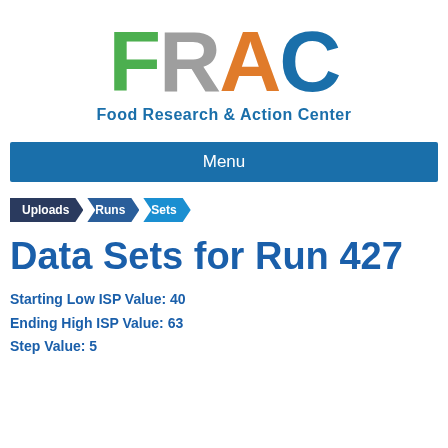[Figure (logo): FRAC logo - Food Research & Action Center. Large letters F (green), R (gray), A (orange), C (dark blue) with subtitle 'Food Research & Action Center' in blue beneath.]
Menu
Uploads
Runs
Sets
Data Sets for Run 427
Starting Low ISP Value: 40
Ending High ISP Value: 63
Step Value: 5